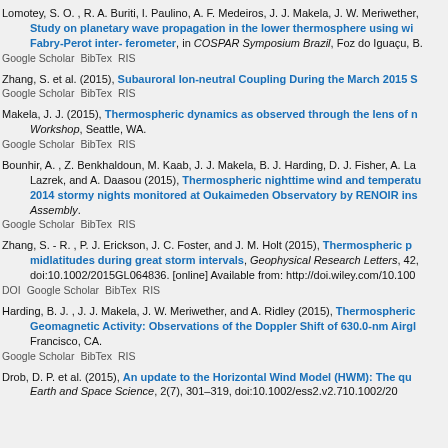Lomotey, S. O. , R. A. Buriti, I. Paulino, A. F. Medeiros, J. J. Makela, J. W. Meriwether, Study on planetary wave propagation in the lower thermosphere using wind data from a Fabry-Perot inter- ferometer, in COSPAR Symposium Brazil, Foz do Iguaçu, B. Google Scholar BibTex RIS
Zhang, S. et al. (2015), Subauroral Ion-neutral Coupling During the March 2015 S. Google Scholar BibTex RIS
Makela, J. J. (2015), Thermospheric dynamics as observed through the lens of n. Workshop, Seattle, WA. Google Scholar BibTex RIS
Bounhir, A. , Z. Benkhaldoun, M. Kaab, J. J. Makela, B. J. Harding, D. J. Fisher, A. La, Lazrek, and A. Daasou (2015), Thermospheric nighttime wind and temperature 2014 stormy nights monitored at Oukaimeden Observatory by RENOIR ins Assembly. Google Scholar BibTex RIS
Zhang, S. - R. , P. J. Erickson, J. C. Foster, and J. M. Holt (2015), Thermospheric p midlatitudes during great storm intervals, Geophysical Research Letters, 42, doi:10.1002/2015GL064836. [online] Available from: http://doi.wiley.com/10.1002 DOI Google Scholar BibTex RIS
Harding, B. J. , J. J. Makela, J. W. Meriwether, and A. Ridley (2015), Thermospheric Geomagnetic Activity: Observations of the Doppler Shift of 630.0-nm Airgl Francisco, CA. Google Scholar BibTex RIS
Drob, D. P. et al. (2015), An update to the Horizontal Wind Model (HWM): The qu Earth and Space Science, 2(7), 301–319, doi:10.1002/ess2.v2.710.1002/20